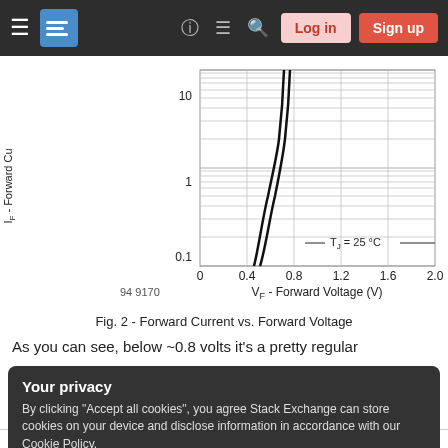[Figure (continuous-plot): Semi-log plot of I_F (Forward Current) vs V_F (Forward Voltage) for a diode. Y-axis is logarithmic from 0.1 to 10 (A). X-axis is linear from 0 to 2.0 V. Two closely spaced curves rise steeply around 0.5-0.8V. Annotation: T_J = 25 °C. Label '94 9170' at bottom left.]
Fig. 2 - Forward Current vs. Forward Voltage
As you can see, below ~0.8 volts it's a pretty regular
Your privacy
By clicking "Accept all cookies", you agree Stack Exchange can store cookies on your device and disclose information in accordance with our Cookie Policy.
Accept all cookies
Customize settings
50.00m